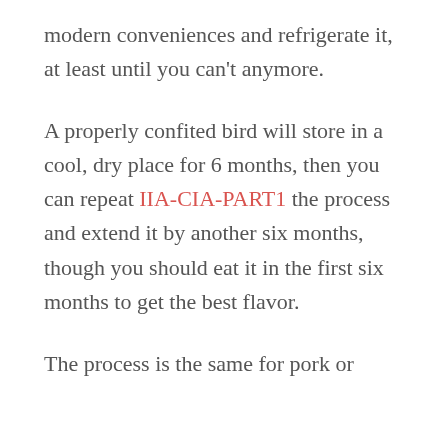modern conveniences and refrigerate it, at least until you can't anymore.
A properly confited bird will store in a cool, dry place for 6 months, then you can repeat IIA-CIA-PART1 the process and extend it by another six months, though you should eat it in the first six months to get the best flavor.
The process is the same for pork or